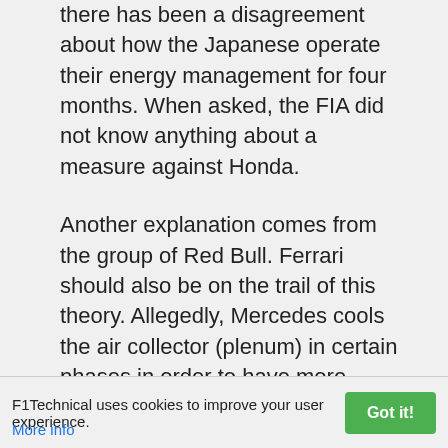there has been a disagreement about how the Japanese operate their energy management for four months. When asked, the FIA did not know anything about a measure against Honda.
Another explanation comes from the group of Red Bull. Ferrari should also be on the trail of this theory. Allegedly, Mercedes cools the air collector (plenum) in certain phases in order to have more power available. Before a qualifying round or the start of the race, this would be allowed, but only with archaic methods. So you can cool down the plenary session with dry ice. But the effect evaporates relatively quickly.
Systematic cooling of the plenary would at least be a gray area or not allowed at all. "Especially if you support the cooler air in the collector for a short time by injecting more gasoline" it says from the Red Bull warehouse.
F1Technical uses cookies to improve your user experience.  Got it!  More info